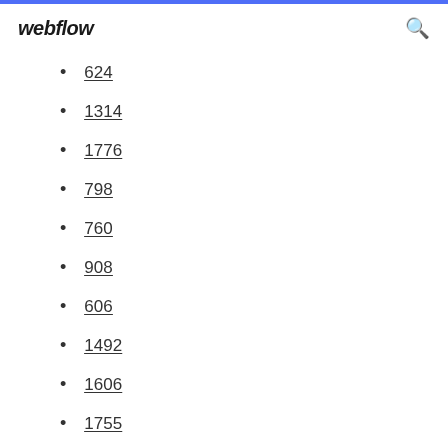webflow
624
1314
1776
798
760
908
606
1492
1606
1755
616
1768